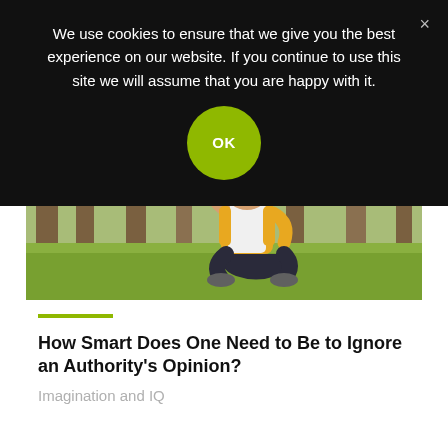We use cookies to ensure that we give you the best experience on our website. If you continue to use this site we will assume that you are happy with it.
OK
[Figure (photo): A woman in a yellow jacket and white top sitting cross-legged on grass in a park, trees in background]
How Smart Does One Need to Be to Ignore an Authority's Opinion?
Imagination and IQ